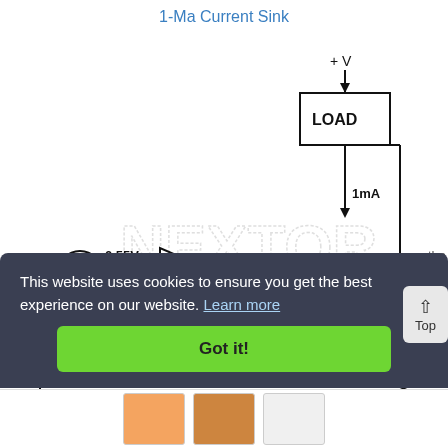1-Ma Current Sink
[Figure (circuit-diagram): 1-mA Current Sink circuit diagram featuring an LM3900 op-amp with a diode on the inverting input (0.55V reference), a 2N3904 NPN transistor (Q1) connected to the output, a load connected to +V supply, a 560 ohm resistor R1 at the emitter, and ground connections. Current of 1mA flows through the load.]
This website uses cookies to ensure you get the best experience on our website. Learn more
Got it!
en the
Top